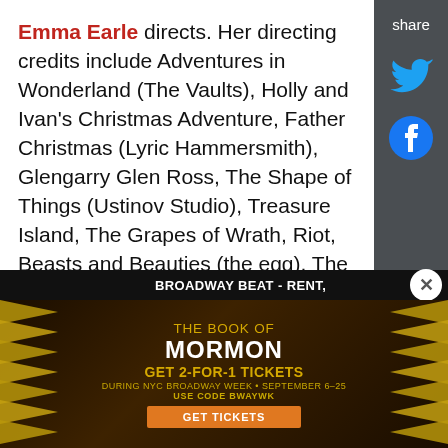Emma Earle directs. Her directing credits include Adventures in Wonderland (The Vaults), Holly and Ivan's Christmas Adventure, Father Christmas (Lyric Hammersmith), Glengarry Glen Ross, The Shape of Things (Ustinov Studio), Treasure Island, The Grapes of Wrath, Riot, Beasts and Beauties (the egg), The Taming of the Shrew, Eddie King's Unforgettable Tour of the Forgotten, Gizmo Love, The Elves and the Shoemakers (Tobacco Factory), Select A Quest and Much Ado About Nothing (Bristol Old Vic).
Adapted by Mike Kenny, one of England's leading
[Figure (screenshot): Share sidebar with Twitter and Facebook icons on dark gray background]
[Figure (screenshot): Advertisement banner for The Book of Mormon - GET 2-FOR-1 TICKETS DURING NYC BROADWAY WEEK SEPTEMBER 6-25 USE CODE BWAYWK GET TICKETS]